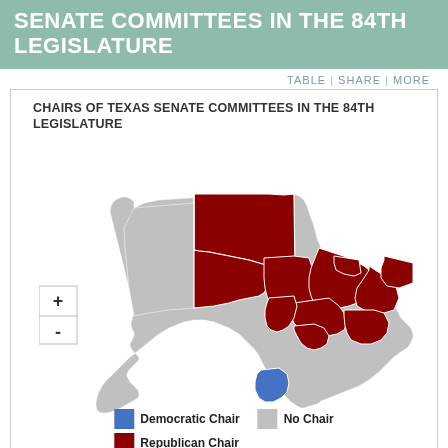SENATE COMMITTEES IN THE 84TH LEGISLATURE
TABLE | SHARE | MORE
CHAIRS OF TEXAS SENATE COMMITTEES IN THE 84TH LEGISLATURE
[Figure (map): Choropleth map of Texas Senate districts showing committee chairs by party affiliation. Dark red (maroon) districts represent Republican Chairs concentrated in West Texas, Panhandle, and East/Central Texas. One blue district in south Texas represents a Democratic Chair. Gray districts represent No Chair.]
Democratic Chair | No Chair | Republican Chair